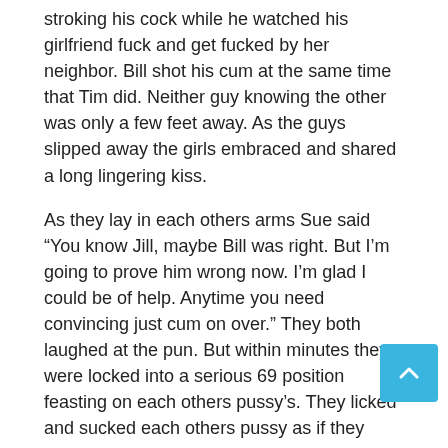stroking his cock while he watched his girlfriend fuck and get fucked by her neighbor. Bill shot his cum at the same time that Tim did. Neither guy knowing the other was only a few feet away. As the guys slipped away the girls embraced and shared a long lingering kiss.
As they lay in each others arms Sue said “You know Jill, maybe Bill was right. But I’m going to prove him wrong now. I’m glad I could be of help. Anytime you need convincing just cum on over.” They both laughed at the pun. But within minutes they were locked into a serious 69 position feasting on each others pussy’s. They licked and sucked each others pussy as if they hadn’t had sex in days. They ground their pussy’s into each others face all the while sucking and fucking each other to a frenzy. They came at the same time, their bodies arching into the others as if it were their first time. As they lay spent they both knew that this was only the beginning of a very close neighborly relationship.
more to cum...oops come